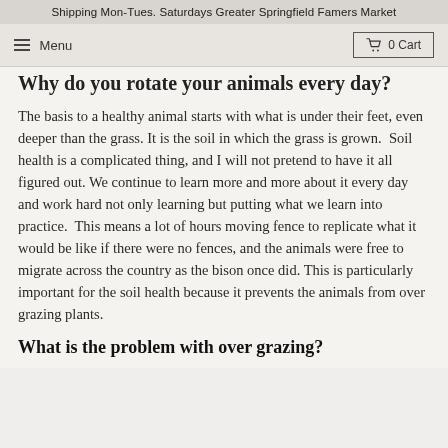Shipping Mon-Tues. Saturdays Greater Springfield Famers Market
Why do you rotate your animals every day?
The basis to a healthy animal starts with what is under their feet, even deeper than the grass. It is the soil in which the grass is grown. Soil health is a complicated thing, and I will not pretend to have it all figured out. We continue to learn more and more about it every day and work hard not only learning but putting what we learn into practice. This means a lot of hours moving fence to replicate what it would be like if there were no fences, and the animals were free to migrate across the country as the bison once did. This is particularly important for the soil health because it prevents the animals from over grazing plants.
What is the problem with over grazing?